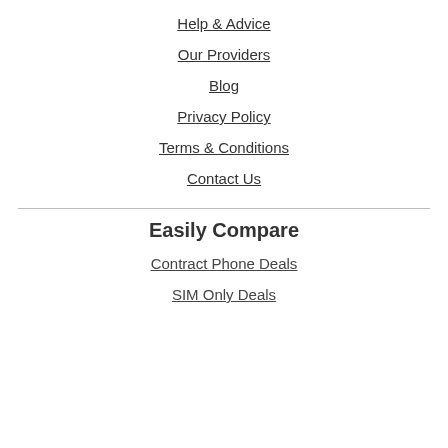Help & Advice
Our Providers
Blog
Privacy Policy
Terms & Conditions
Contact Us
Easily Compare
Contract Phone Deals
SIM Only Deals